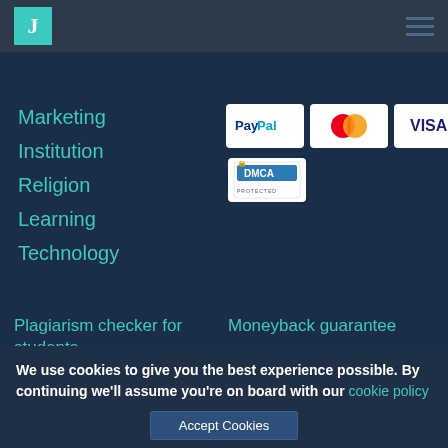[Figure (logo): Site logo with J letter in teal box]
Marketing
Institution
Religion
Learning
Technology
[Figure (other): Payment badges: PayPal, Mastercard, Visa]
[Figure (other): DMCA Protected badge]
Plagiarism checker for students
Order
About Us
How it works
Contact
Moneyback guarantee
Terms of Usage
Privacy Policy and Term of Use
Cookie Policy
Revision policy
We use cookies to give you the best experience possible. By continuing we'll assume you're on board with our cookie policy
Accept Cookies